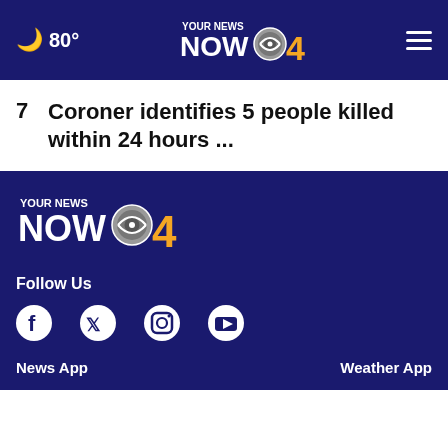80° Your News Now CBS 4
7  Coroner identifies 5 people killed within 24 hours ...
[Figure (logo): Your News Now CBS 4 logo in white and orange on dark navy background]
Follow Us
[Figure (infographic): Social media icons: Facebook, Twitter, Instagram, YouTube]
News App
Weather App